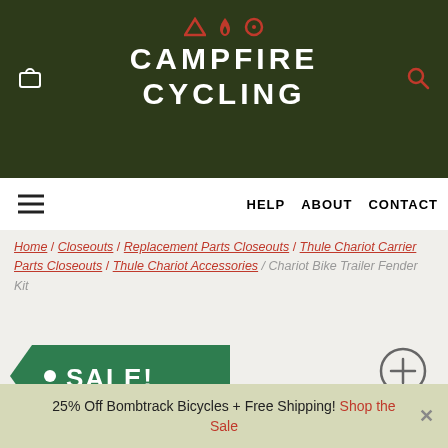Campfire Cycling
HELP   ABOUT   CONTACT
Home / Closeouts / Replacement Parts Closeouts / Thule Chariot Carrier Parts Closeouts / Thule Chariot Accessories / Chariot Bike Trailer Fender Kit
[Figure (other): Green SALE! badge/tag shape with white dot and bold white text]
[Figure (other): Circle with plus/zoom icon]
25% Off Bombtrack Bicycles + Free Shipping! Shop the Sale